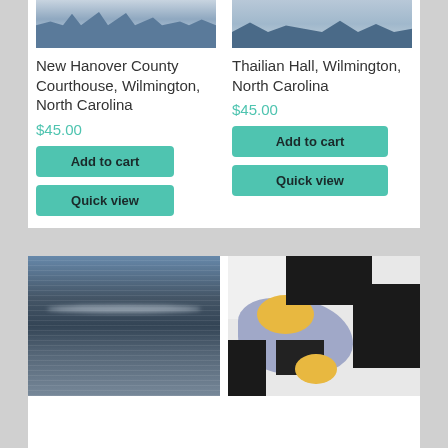[Figure (photo): Black and white photo of New Hanover County Courthouse building]
New Hanover County Courthouse, Wilmington, North Carolina
$45.00
Add to cart
Quick view
[Figure (photo): Black and white photo of Thailian Hall building]
Thailian Hall, Wilmington, North Carolina
$45.00
Add to cart
Quick view
[Figure (photo): Photo of water with light reflections on the surface]
[Figure (photo): Abstract painting with black, lavender/blue, and yellow shapes]